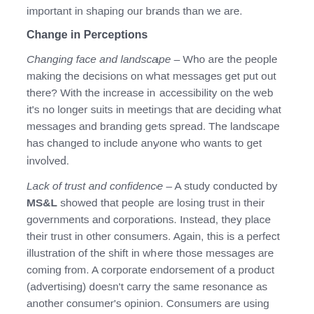important in shaping our brands than we are.
Change in Perceptions
Changing face and landscape – Who are the people making the decisions on what messages get put out there? With the increase in accessibility on the web it's no longer suits in meetings that are deciding what messages and branding gets spread. The landscape has changed to include anyone who wants to get involved.
Lack of trust and confidence – A study conducted by MS&L showed that people are losing trust in their governments and corporations. Instead, they place their trust in other consumers. Again, this is a perfect illustration of the shift in where those messages are coming from. A corporate endorsement of a product (advertising) doesn't carry the same resonance as another consumer's opinion. Consumers are using forums much more